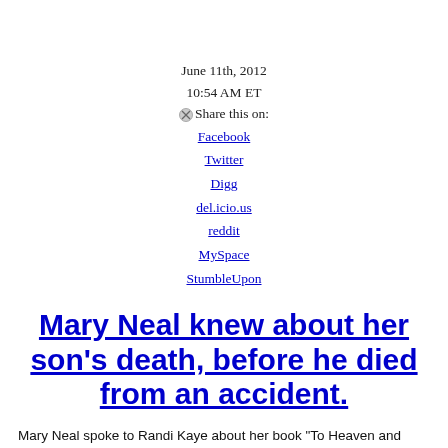June 11th, 2012
10:54 AM ET
Share this on:
Facebook
Twitter
Digg
del.icio.us
reddit
MySpace
StumbleUpon
Mary Neal knew about her son's death, before he died from an accident.
Mary Neal spoke to Randi Kaye about her book "To Heaven and back." She discusses her near-death experience and conversations